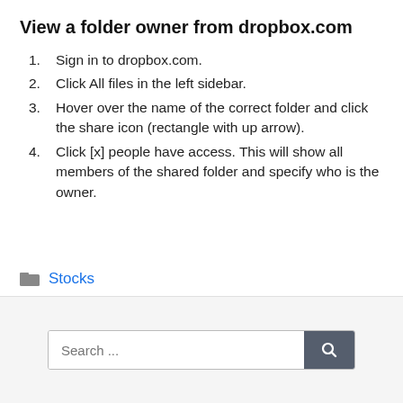View a folder owner from dropbox.com
Sign in to dropbox.com.
Click All files in the left sidebar.
Hover over the name of the correct folder and click the share icon (rectangle with up arrow).
Click [x] people have access. This will show all members of the shared folder and specify who is the owner.
Stocks
Search ...